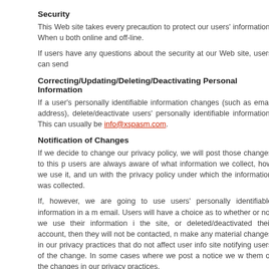Security
This Web site takes every precaution to protect our users' information. When u both online and off-line.
If users have any questions about the security at our Web site, users can send
Correcting/Updating/Deleting/Deactivating Personal Information
If a user's personally identifiable information changes (such as email address), delete/deactivate users' personally identifiable information. This can usually be info@xspasm.com.
Notification of Changes
If we decide to change our privacy policy, we will post those changes to this p users are always aware of what information we collect, how we use it, and un with the privacy policy under which the information was collected.
If, however, we are going to use users' personally identifiable information in a email. Users will have a choice as to whether or not we use their information i the site, or deleted/deactivated their account, then they will not be contacted, make any material changes in our privacy practices that do not affect user info site notifying users of the change. In some cases where we post a notice we w them of the changes in our privacy practices.
Contact Information
If users have any questions or suggestions regarding our privacy policy, please
info@xspasm.com